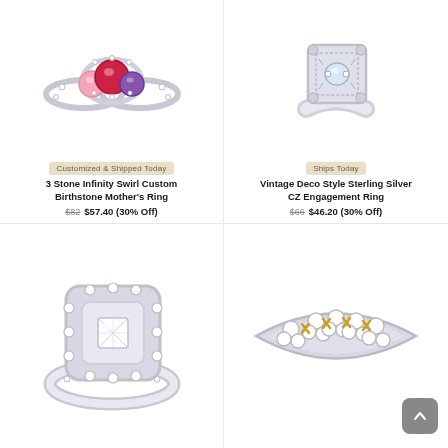[Figure (photo): 3 Stone Infinity Swirl Custom Birthstone Mother's Ring — silver ring with pink, red ruby, and purple gemstones]
Customized & Shipped Today
3 Stone Infinity Swirl Custom Birthstone Mother's Ring
$82  $57.40 (30% Off)
[Figure (photo): Vintage Deco Style Sterling Silver CZ Engagement Ring — ornate silver ring with clear center stone]
Ships Today
Vintage Deco Style Sterling Silver CZ Engagement Ring
$66  $46.20 (30% Off)
[Figure (photo): Silver halo diamond engagement ring with matching wedding band — princess cut center stone surrounded by diamonds]
[Figure (photo): Diamond eternity band with gold X-cross accents in two-tone gold and silver setting]